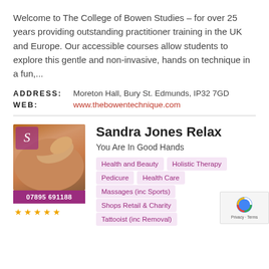Welcome to The College of Bowen Studies – for over 25 years providing outstanding practitioner training in the UK and Europe. Our accessible courses allow students to explore this gentle and non-invasive, hands on technique in a fun,...
ADDRESS: Moreton Hall, Bury St. Edmunds, IP32 7GD
WEB: www.thebowentechnique.com
[Figure (photo): Massage therapy photo with purple phone bar showing 07895 691188 and 5 star rating below]
Sandra Jones Relax
You Are In Good Hands
Health and Beauty
Holistic Therapy
Pedicure
Health Care
Massages (inc Sports)
Shops Retail & Charity
Tattooist (inc Removal)